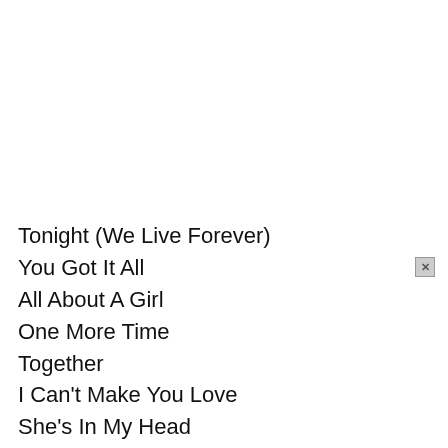Tonight (We Live Forever)
You Got It All
All About A Girl
One More Time
Together
I Can't Make You Love
She's In My Head
Midnight Train
I Love To Watch You Sleep
Central Park
Girl Like You
[Figure (screenshot): Video popup overlay with header 'John Boyega, Nicole Beharie on Bre...' with close X button, showing a video thumbnail with a mute icon (yellow circle with speaker-off symbol), text 'BREAKING' in white bold, and a person (John Boyega) visible in the thumbnail. An ad close X icon appears below the popup.]